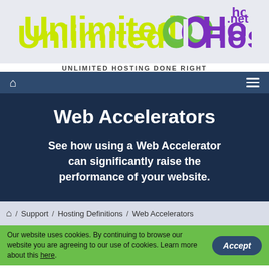[Figure (logo): UnlimitedHosting.net logo with infinity symbol in green/purple, company name in yellow-green 'Unlimited' and purple 'Hosting' with '.net' in purple]
UNLIMITED HOSTING DONE RIGHT
[Figure (screenshot): Navigation bar with home icon on left and hamburger menu icon on right, dark blue background]
Web Accelerators
See how using a Web Accelerator can significantly raise the performance of your website.
Home / Support / Hosting Definitions / Web Accelerators
Our website uses cookies. By continuing to browse our website you are agreeing to our use of cookies. Learn more about this here.